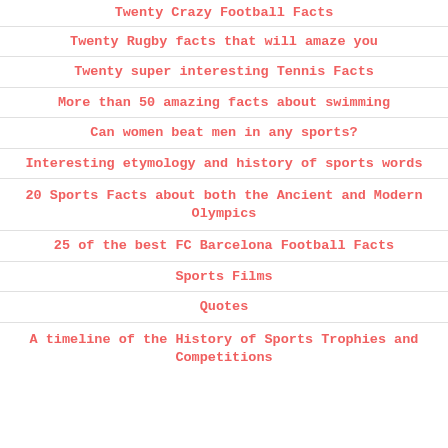Twenty Crazy Football Facts
Twenty Rugby facts that will amaze you
Twenty super interesting Tennis Facts
More than 50 amazing facts about swimming
Can women beat men in any sports?
Interesting etymology and history of sports words
20 Sports Facts about both the Ancient and Modern Olympics
25 of the best FC Barcelona Football Facts
Sports Films
Quotes
A timeline of the History of Sports Trophies and Competitions